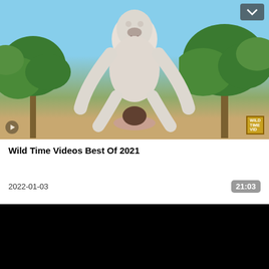[Figure (screenshot): 3D animated video thumbnail showing a stylized anthropomorphic character crouching over a human figure on a sandy beach with palm trees and blue sky background. A watermark badge appears in the bottom right corner. A Pornhub logo appears bottom left. A navigation dropdown appears top right.]
Wild Time Videos Best Of 2021
2022-01-03
21:03
[Figure (screenshot): Black video preview area]